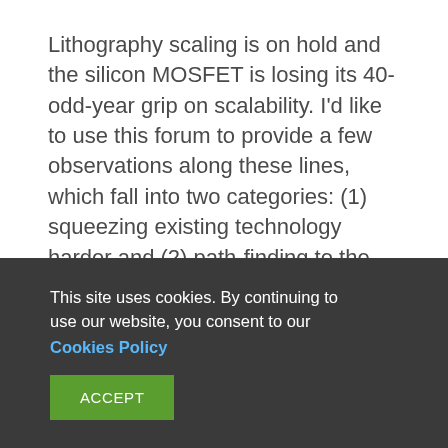Lithography scaling is on hold and the silicon MOSFET is losing its 40-odd-year grip on scalability. I'd like to use this forum to provide a few observations along these lines, which fall into two categories: (1) squeezing existing technology harder and (2) path-finding to the best solution in an increasingly complicated set of technology scaling options.
Time to do some stairs
While area scaling from 16nm to 10nm is advertised
This site uses cookies. By continuing to use our website, you consent to our Cookies Policy ACCEPT